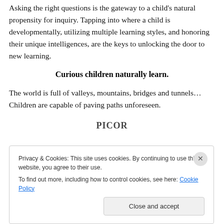Asking the right questions is the gateway to a child's natural propensity for inquiry. Tapping into where a child is developmentally, utilizing multiple learning styles, and honoring their unique intelligences, are the keys to unlocking the door to new learning.
Curious children naturally learn.
The world is full of valleys, mountains, bridges and tunnels… Children are capable of paving paths unforeseen.
PICOR
Privacy & Cookies: This site uses cookies. By continuing to use this website, you agree to their use. To find out more, including how to control cookies, see here: Cookie Policy
Close and accept